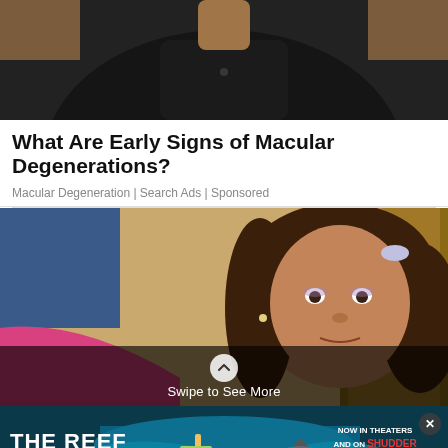[Figure (photo): Photo of a man in a dark shirt with hands raised near his head, cropped at torso level, dark background]
What Are Early Signs of Macular Degenerations?
Macular Degeneration | Search Ads | Sponsored
[Figure (photo): Photo of a young girl with curly brown hair wearing pink, looking at camera, with swipe overlay and 'Swipe to See More' text]
[Figure (photo): Banner ad for 'The Reef Stalked' movie showing a surfer and shark, with 'Now in Theaters and on Shudder' and 'Start Your Free Trial' button]